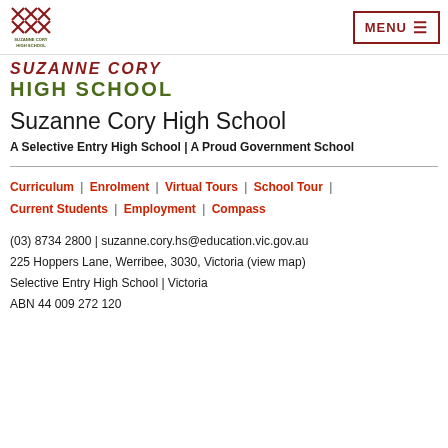[Figure (logo): Suzanne Cory High School logo with geometric cross-hatch pattern in dark red]
MENU ☰
SUZANNE CORY
HIGH SCHOOL
Suzanne Cory High School
A Selective Entry High School | A Proud Government School
Curriculum | Enrolment | Virtual Tours | School Tour | Current Students | Employment | Compass
(03) 8734 2800 | suzanne.cory.hs@education.vic.gov.au
225 Hoppers Lane, Werribee, 3030, Victoria (view map)
Selective Entry High School | Victoria
ABN 44 009 272 120